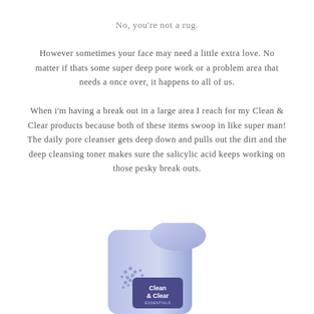No, you're not a rug.
However sometimes your face may need a little extra love. No matter if thats some super deep pore work or a problem area that needs a once over, it happens to all of us.
When i'm having a break out in a large area I reach for my Clean & Clear products because both of these items swoop in like super man! The daily pore cleanser gets deep down and pulls out the dirt and the deep cleansing toner makes sure the salicylic acid keeps working on those pesky break outs.
[Figure (photo): Partial view of a Clean & Clear product tube/bottle with blue-purple coloring and the Clean & Clear logo visible]